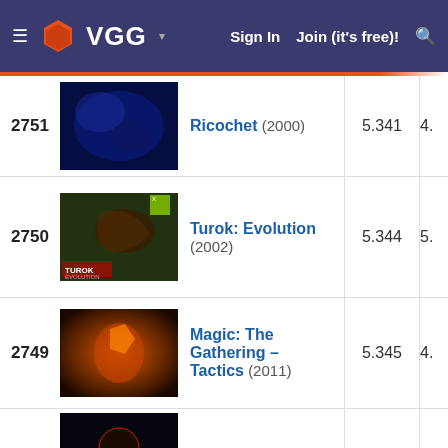VGG — Sign In  Join (it's free)!
| Rank | Image | Title | Score |  |
| --- | --- | --- | --- | --- |
| 2751 |  | Ricochet (2000) | 5.341 | 4. |
| 2750 |  | Turok: Evolution (2002) | 5.344 | 5. |
| 2749 |  | Magic: The Gathering – Tactics (2011) | 5.345 | 4. |
| 2748 |  | Postal (1997) | 5.364 | 5 |
| 2747 |  | Lure of the Temptress (1992) | 5.367 | 5 |
| 2746 |  | Lugaru: The Rabbit's Foot (2005) | 5.368 | 5. |